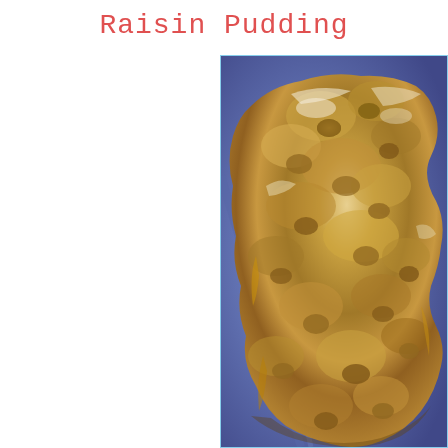Raisin Pudding
[Figure (photo): Close-up photograph of raisin pudding served on a blue plate. The pudding appears golden-brown and glistening with syrup, with visible raisins embedded throughout. The texture is lumpy and moist.]